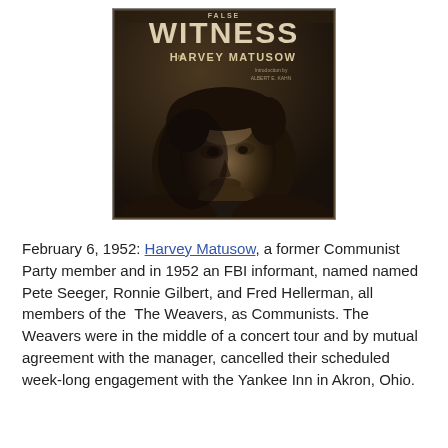[Figure (photo): Book cover of 'False Witness' by Harvey Matusow, with introduction by Albert E. Kahn. Dark sepia-toned cover showing a close-up face photograph of a young man looking intensely at the camera.]
February 6, 1952: Harvey Matusow, a former Communist Party member and in 1952 an FBI informant, named named Pete Seeger, Ronnie Gilbert, and Fred Hellerman, all members of the  The Weavers, as Communists. The Weavers were in the middle of a concert tour and by mutual agreement with the manager, cancelled their scheduled week-long engagement with the Yankee Inn in Akron, Ohio.